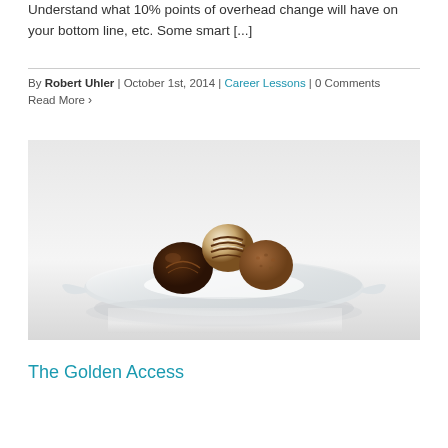Understand what 10% points of overhead change will have on your bottom line, etc. Some smart [...]
By Robert Uhler | October 1st, 2014 | Career Lessons | 0 Comments
Read More >
[Figure (photo): A white plate with three chocolate truffles (one striped white/chocolate, one dark chocolate, one cocoa-dusted) on a reflective white surface]
The Golden Access